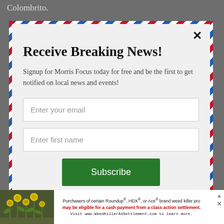Colombrito.
[Figure (infographic): Newsletter signup modal with airmail-style diagonal red, white, and blue striped border. Contains a close (×) button, bold headline, descriptive text, email input field, first name input field, and green Subscribe button.]
Receive Breaking News!
Signup for Morris Focus today for free and be the first to get notified on local news and events!
Enter your email
Enter first name
Subscribe
[Figure (infographic): Advertisement banner at the bottom: photo of yellow flowering plants on left, text about Roundup/HDX/Ace brand weed killer class action settlement directing to WeedKillerAdSettlement.com.]
Purchasers of certain Roundup®, HDX®, or Ace® brand weed killer products may be eligible for a cash payment from a class action settlement. Visit www.WeedKillerAdSettlement.com to learn more.